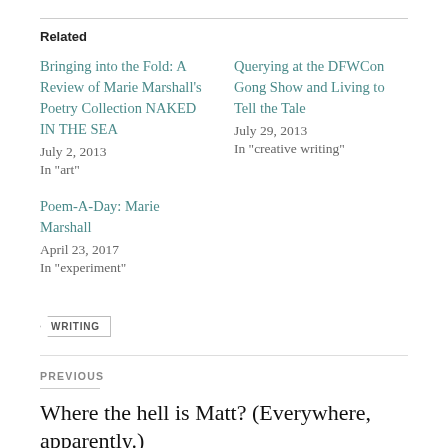Related
Bringing into the Fold: A Review of Marie Marshall's Poetry Collection NAKED IN THE SEA
July 2, 2013
In "art"
Querying at the DFWCon Gong Show and Living to Tell the Tale
July 29, 2013
In "creative writing"
Poem-A-Day: Marie Marshall
April 23, 2017
In "experiment"
WRITING
PREVIOUS
Where the hell is Matt? (Everywhere, apparently.)